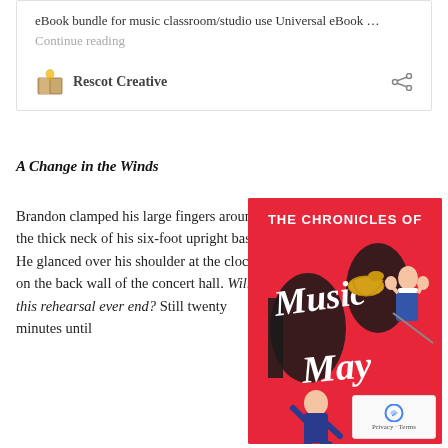eBook bundle for music classroom/studio use Universal eBook … Continue reading
Rescot Creative
A Change in the Winds
Brandon clamped his large fingers around the thick neck of his six-foot upright bass. He glanced over his shoulder at the clock on the back wall of the concert hall. Will this rehearsal ever end? Still twenty minutes until
[Figure (illustration): Book cover for 'The Chronicles of Music May' on a red background with illustrated characters and musical notes/instruments]